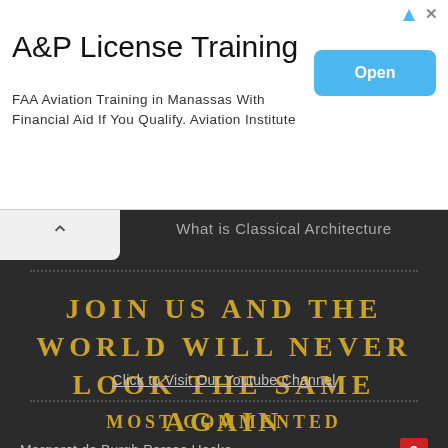[Figure (other): Advertisement banner: A&P License Training. Open button.]
A&P License Training
FAA Aviation Training in Manassas With Financial Aid If You Qualify. Aviation Institute
What is Classical Architecture
JOIN US AND THE WORLD WILL NEVER LOOK THE SAME AGAIN
Click to Visit Our Youtube Channel
MOST COMMENTED
Margaret de Burgh Persse Hocke... ……. 9